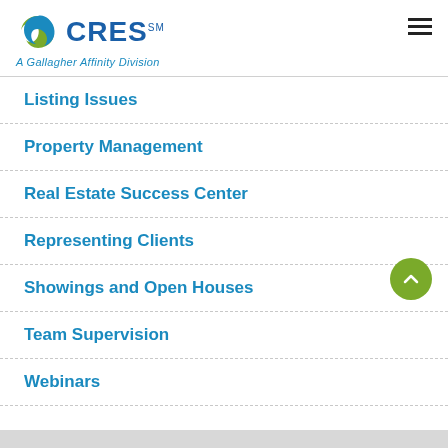[Figure (logo): CRES logo with spiral icon and 'A Gallagher Affinity Division' tagline]
Listing Issues
Property Management
Real Estate Success Center
Representing Clients
Showings and Open Houses
Team Supervision
Webinars